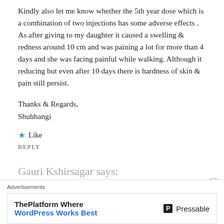Kindly also let me know whether the 5th year dose which is a combination of two injections has some adverse effects . As after giving to my daughter it caused a swelling & redness around 10 cm and was paining a lot for more than 4 days and she was facing painful while walking. Although it reducing but even after 10 days there is hardness of skin & pain still persist.
Thanks & Regards,
Shubhangi
★ Like
REPLY
Gauri Kshirsagar says:
[Figure (screenshot): Advertisement banner: ThePlatform Where WordPress Works Best — Pressable]